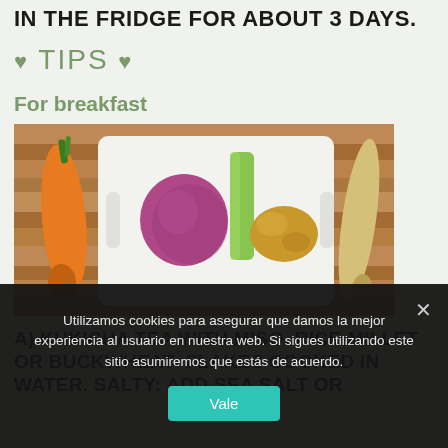IN THE FRIDGE FOR ABOUT 3 DAYS.
♥ TIPS ♥
For breakfast
[Figure (photo): Photo of vegetables on a white cutting board on a wooden surface: a carrot (left), red onion, leek, ginger root (on the board), and a parsnip (right).]
A) KUKICHA TEA WITH MISO. RICE-MILLET OR BUCKWHEAT- FLAKES COOKED IN WATER. SALTY: ADD SEA SALT OR
Utilizamos cookies para asegurar que damos la mejor experiencia al usuario en nuestra web. Si sigues utilizando este sitio asumiremos que estás de acuerdo.